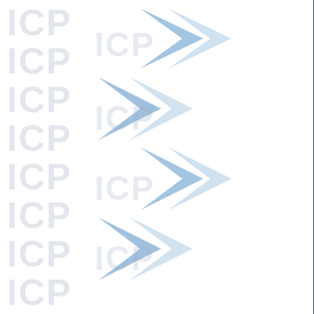[Figure (logo): ICP watermark logo repeated vertically on left side with blue chevron arrows]
On Nigeria what are the views, if any of SG Guterres and DSG Amina J. Mohammed, on the Nigerian separatist leader whose trial resumed on Thursday in Abuja and who was charged with terrorism, running an illegal company and possession of arms materials. The government confirmed the charges, but the details are not yet public. Mr Kanu, who leads the Indigenous People of Biafra, has not yet been asked to plea.
On UN sexual abuse, the SG refused to answer this yesterday, is AGAIN cases of sexual explo